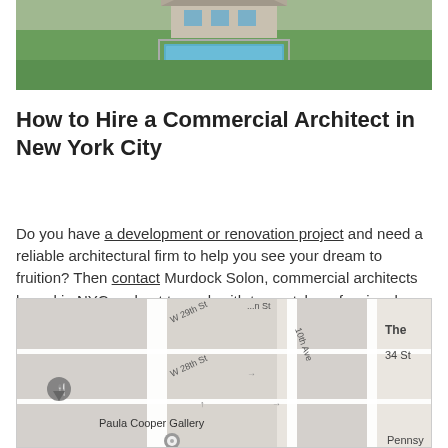[Figure (photo): Aerial or exterior photo showing a house with a rectangular swimming pool on green lawn]
How to Hire a Commercial Architect in New York City
Do you have a development or renovation project and need a reliable architectural firm to help you see your dream to fruition? Then contact Murdock Solon, commercial architects based in NYC and get to work with top-notch professionals. Call us at 212.929.3336 and get quality and affordable services.
[Figure (map): Google Maps screenshot showing streets near W 28th St, W 29th St, 10th Ave in Manhattan, with Paula Cooper Gallery labeled and a map pin]